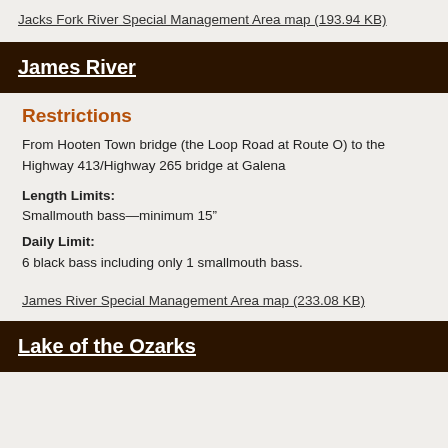Jacks Fork River Special Management Area map (193.94 KB)
James River
Restrictions
From Hooten Town bridge (the Loop Road at Route O) to the Highway 413/Highway 265 bridge at Galena
Length Limits: Smallmouth bass—minimum 15"
Daily Limit: 6 black bass including only 1 smallmouth bass.
James River Special Management Area map (233.08 KB)
Lake of the Ozarks